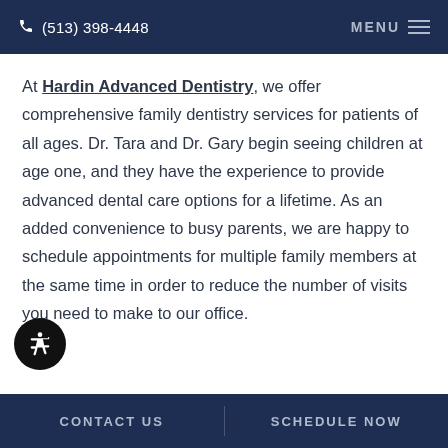(513) 398-4448  MENU
At Hardin Advanced Dentistry, we offer comprehensive family dentistry services for patients of all ages. Dr. Tara and Dr. Gary begin seeing children at age one, and they have the experience to provide advanced dental care options for a lifetime. As an added convenience to busy parents, we are happy to schedule appointments for multiple family members at the same time in order to reduce the number of visits you need to make to our office.
CONTACT US   SCHEDULE NOW